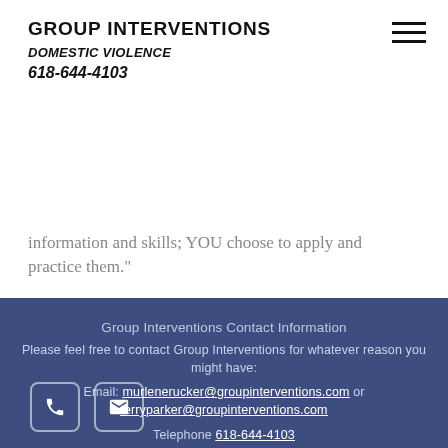GROUP INTERVENTIONS
DOMESTIC VIOLENCE
618-644-4103
information and skills; YOU choose to apply and practice them."
Group Interventions Contact Information
Please feel free to contact Group Interventions for whatever reason you might have:
Email: murlenerucker@groupinterventions.com or terryparker@groupinterventions.com
Telephone 618-644-4103
Fax: 618-644-3659